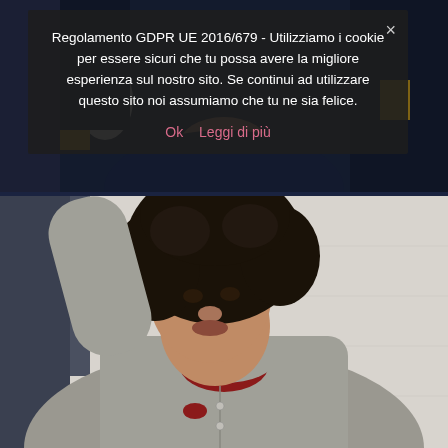[Figure (photo): Top portion showing a fashion photo with a model's torso and hands, wearing dark navy clothing, partially obscured by cookie consent overlay. Yellow accessories visible at edges.]
Regolamento GDPR UE 2016/679 - Utilizziamo i cookie per essere sicuri che tu possa avere la migliore esperienza sul nostro sito. Se continui ad utilizzare questo sito noi assumiamo che tu ne sia felice. ×

Ok   Leggi di più
[Figure (photo): Fashion photo of a young woman with natural afro hair, leaning against a light grey/white wall with her arm raised above her head, wearing a grey polo shirt with a red collar and small red logo on the chest.]